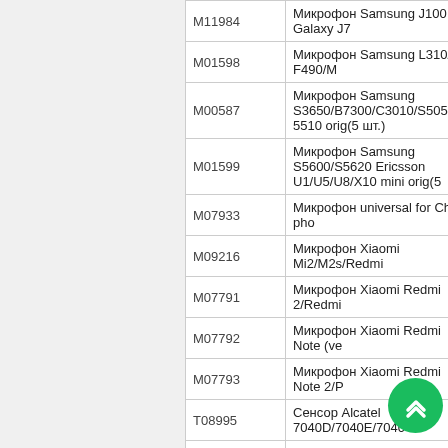| Code | Description |
| --- | --- |
| M11984 | Микрофон Samsung J100 Galaxy J7 |
| M01598 | Микрофон Samsung L310/ F490/M… |
| M00587 | Микрофон Samsung S3650/B7300/C3010/S5050/S5510 orig(5 шт.) |
| M01599 | Микрофон Samsung S5600/S5620/ Ericsson U1/U5/U8/X10 mini orig(5… |
| M07933 | Микрофон universal for China pho… |
| M09216 | Микрофон Xiaomi Mi2/M2s/Redmi… |
| M07791 | Микрофон Xiaomi Redmi 2/Redmi… |
| M07792 | Микрофон Xiaomi Redmi Note (ve… |
| M07793 | Микрофон Xiaomi Redmi Note 2/P… |
| T08995 | Сенсор Alcatel 7040D/7040E/7040… |
| T07482 | Сенсор Asus ZenFone 5 T00F T00… |